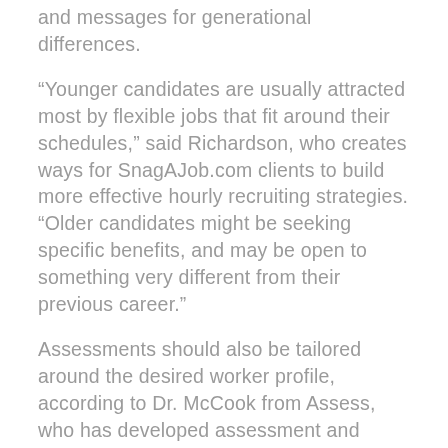and messages for generational differences.
“Younger candidates are usually attracted most by flexible jobs that fit around their schedules,” said Richardson, who creates ways for SnagAJob.com clients to build more effective hourly recruiting strategies. “Older candidates might be seeking specific benefits, and may be open to something very different from their previous career.”
Assessments should also be tailored around the desired worker profile, according to Dr. McCook from Assess, who has developed assessment and development programs for a wide range of positions and industries.
“Generational differences create an interesting dynamic for assessments. On one hand, cutting-edge technology is great and appeals to younger generations. On the other hand, the candidate